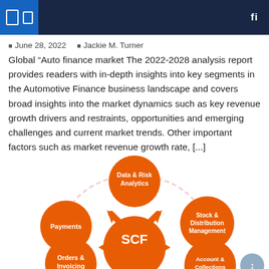June 28, 2022   Jackie M. Turner
Global “Auto finance marketThe 2022-2028 analysis report provides readers with in-depth insights into key segments in the Automotive Finance business landscape and covers broad insights into the market dynamics such as key revenue growth drivers and restraints, opportunities and emerging challenges and current market trends. Other important factors such as market revenue growth rate, [...]
[Figure (infographic): Circular infographic diagram showing SCF (Supply Chain Finance) at the center with orange arrows pointing outward in four directions. Surrounding orange circles contain: Data & Risk Analytics (top center), Stock & Distribution Management (right), Account & Collections Management (bottom right), Orders & Invoicing (bottom left), Payments (left). Connected by a pink/light circular arc.]